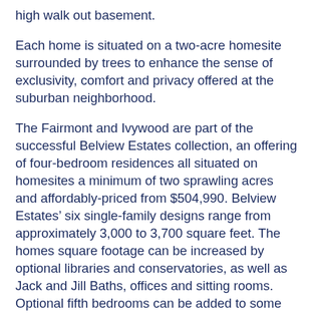high walk out basement.
Each home is situated on a two-acre homesite surrounded by trees to enhance the sense of exclusivity, comfort and privacy offered at the suburban neighborhood.
The Fairmont and Ivywood are part of the successful Belview Estates collection, an offering of four-bedroom residences all situated on homesites a minimum of two sprawling acres and affordably-priced from $504,990. Belview Estates’ six single-family designs range from approximately 3,000 to 3,700 square feet. The homes square footage can be increased by optional libraries and conservatories, as well as Jack and Jill Baths, offices and sitting rooms. Optional fifth bedrooms can be added to some models.
In all, Belview Estates offers 35 estate-inspired single-family